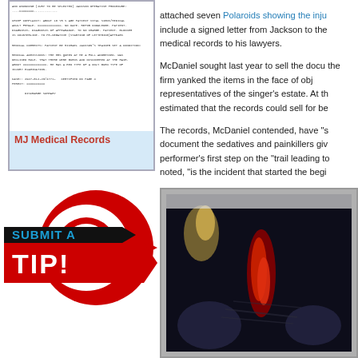[Figure (photo): MJ Medical Records document scan shown in a light blue box]
MJ Medical Records
[Figure (infographic): Submit a TIP! graphic with black arrow banner and red curved arrow design]
attached seven Polaroids showing the inju include a signed letter from Jackson to the medical records to his lawyers.
McDaniel sought last year to sell the docu the firm yanked the items in the face of obj representatives of the singer’s estate. At th estimated that the records could sell for be
The records, McDaniel contended, have “s document the sedatives and painkillers giv performer’s first step on the “trail leading to noted, “is the incident that started the begi
[Figure (photo): Dark photograph appearing to show an injury on a person’s scalp with reddish wound area visible]